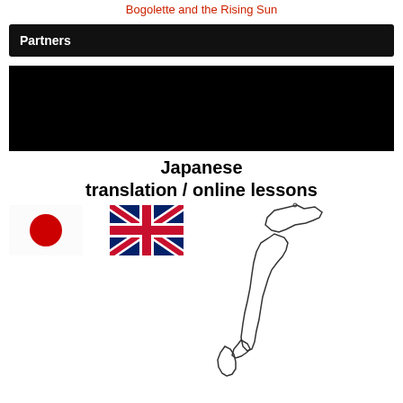Bogolette and the Rising Sun
Partners
[Figure (other): Black rectangle placeholder image]
Japanese translation / online lessons
[Figure (illustration): Japanese flag (white with red circle), UK flag (Union Jack), and outline map of Japan]
[Figure (map): Outline map of Japan showing the main islands]